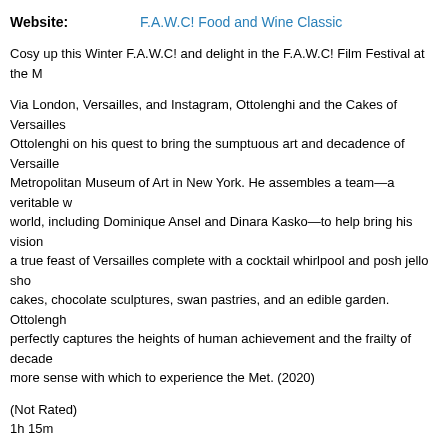Website: F.A.W.C! Food and Wine Classic
Cosy up this Winter F.A.W.C! and delight in the F.A.W.C! Film Festival at the M...
Via London, Versailles, and Instagram, Ottolenghi and the Cakes of Versailles follows Ottolenghi on his quest to bring the sumptuous art and decadence of Versaille to the Metropolitan Museum of Art in New York. He assembles a team—a veritable who's who of the world, including Dominique Ansel and Dinara Kasko—to help bring his vision to life and create a true feast of Versailles complete with a cocktail whirlpool and posh jello shots, towering cakes, chocolate sculptures, swan pastries, and an edible garden. Ottolenghi perfectly captures the heights of human achievement and the frailty of decade...more sense with which to experience the Met. (2020)
(Not Rated)
1h 15m
Ticket price includes movie and a sweet treat. Drinks and refreshments availa...
F.A.W.C! is a series of exceptional food and wine experiences set in stunning... Running twice a year, F.A.W.C! is a chance to get up close and personal with wine makers and the clever people that make up the New Zealand food and w... Series runs over the 4 weekends in June 2022
Powered by www.eventfinda.co.nz